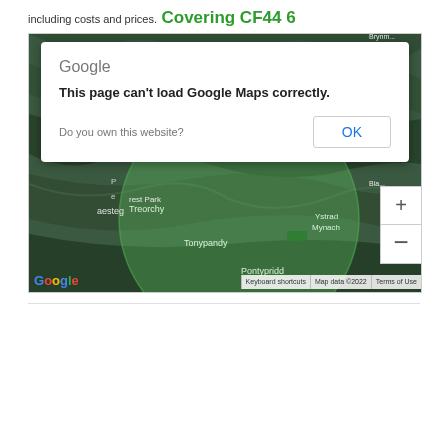including costs and prices.
Covering CF44 6
[Figure (screenshot): Google Maps screenshot showing area around CF44 6 (Treorchy, Tonypandy, Pontypridd, Ystrad Mynach area in Wales) with a green circle overlay indicating coverage. An error dialog is overlaid: 'This page can't load Google Maps correctly. Do you own this website? OK'. Map shows terrain view with zoom controls and Google attribution. Map data ©2022.]